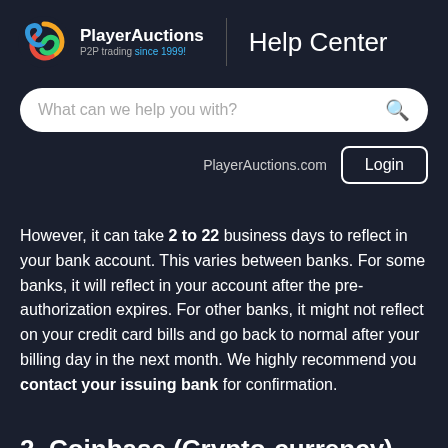PlayerAuctions | Help Center
What can we help you with?
PlayerAuctions.com   Login
However, it can take 2 to 22 business days to reflect in your bank account. This varies between banks. For some banks, it will reflect in your account after the pre-authorization expires. For other banks, it might not reflect on your credit card bills and go back to normal after your billing day in the next month. We highly recommend you contact your issuing bank for confirmation.
2. Coinbase (Crypto-currency)